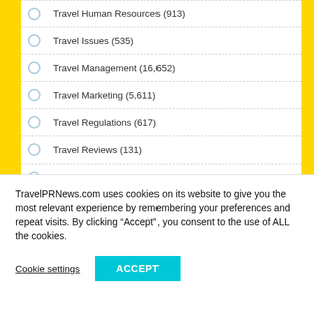Travel Human Resources (913)
Travel Issues (535)
Travel Management (16,652)
Travel Marketing (5,611)
Travel Regulations (617)
Travel Reviews (131)
Travel Safety (953)
Travel Services (24,698)
Travel Shopping (324)
TravelPRNews.com uses cookies on its website to give you the most relevant experience by remembering your preferences and repeat visits. By clicking “Accept”, you consent to the use of ALL the cookies.
Cookie settings
ACCEPT